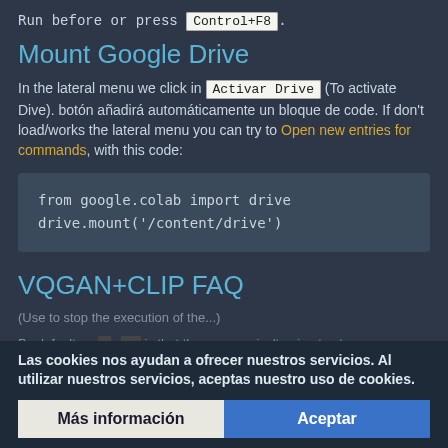Run before or press Control+F8.
Mount Google Drive
In the lateral menu we click in Activar Drive (To activate Dive). botón añadirá automáticamente un bloque de code. If don't load/works the lateral menu you can try to Open new entries for commands, with this code:
VQGAN+CLIP FAQ
Las cookies nos ayudan a ofrecer nuestros servicios. Al utilizar nuestros servicios, aceptas nuestro uso de cookies.
Más información   Aceptar
By default ma... al... is that the program isn't going to stop... operations... want to so